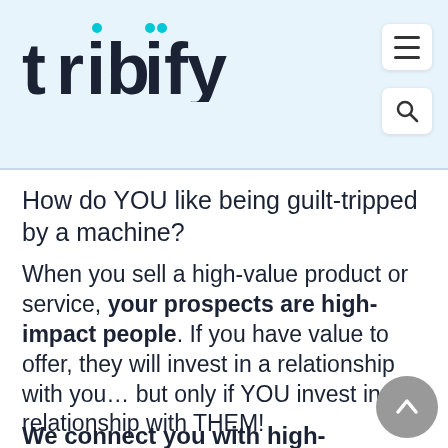tribify
How do YOU like being guilt-tripped by a machine?
When you sell a high-value product or service, your prospects are high-impact people. If you have value to offer, they will invest in a relationship with you… but only if YOU invest in a relationship with THEM!
We connect you with high-impact...